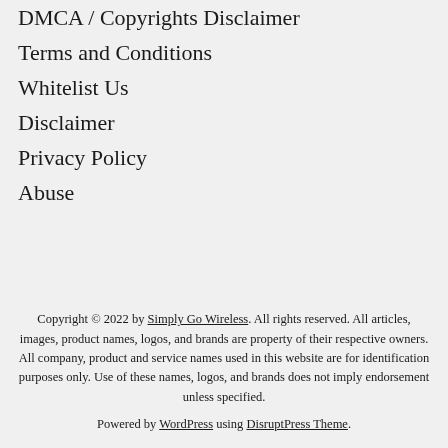DMCA / Copyrights Disclaimer
Terms and Conditions
Whitelist Us
Disclaimer
Privacy Policy
Abuse
Copyright © 2022 by Simply Go Wireless. All rights reserved. All articles, images, product names, logos, and brands are property of their respective owners. All company, product and service names used in this website are for identification purposes only. Use of these names, logos, and brands does not imply endorsement unless specified.
Powered by WordPress using DisruptPress Theme.